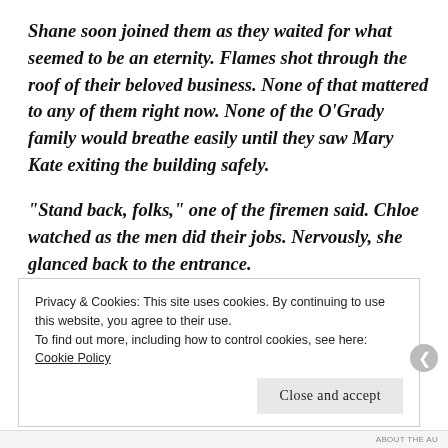Shane soon joined them as they waited for what seemed to be an eternity. Flames shot through the roof of their beloved business. None of that mattered to any of them right now. None of the O'Grady family would breathe easily until they saw Mary Kate exiting the building safely.
“Stand back, folks,” one of the firemen said. Chloe watched as the men did their jobs. Nervously, she glanced back to the entrance.
Privacy & Cookies: This site uses cookies. By continuing to use this website, you agree to their use.
To find out more, including how to control cookies, see here:
Cookie Policy
Close and accept